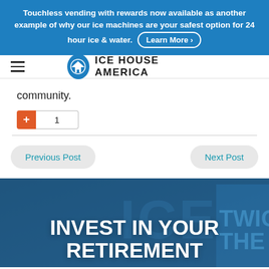Touchless vending with rewards now available as another example of why our ice machines are your safest option for 24 hour ice & water. Learn More ›
[Figure (logo): Ice House America logo — blue circle with house icon, text ICE HOUSE AMERICA]
community.
+ 1
Previous Post
Next Post
INVEST IN YOUR RETIREMENT